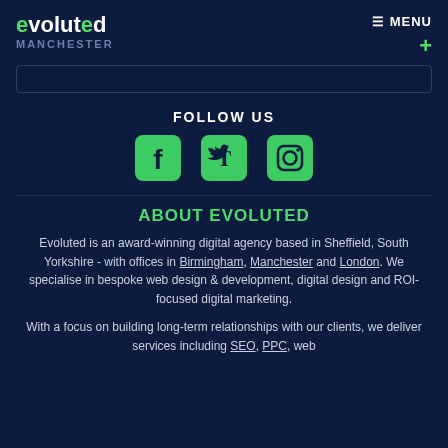evoluted MANCHESTER  ≡ MENU +
FOLLOW US
[Figure (illustration): Three social media icons in green rounded squares: Facebook, Twitter, Instagram]
ABOUT EVOLUTED
Evoluted is an award-winning digital agency based in Sheffield, South Yorkshire - with offices in Birmingham, Manchester and London. We specialise in bespoke web design & development, digital design and ROI-focused digital marketing.
With a focus on building long-term relationships with our clients, we deliver services including SEO, PPC, web